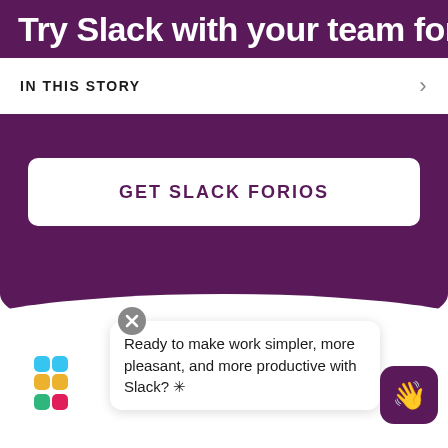Try Slack with your team for
IN THIS STORY
[Figure (screenshot): GET SLACK FOR iOS button on purple background]
[Figure (logo): Slack logo with colored grid squares]
Ready to make work simpler, more pleasant, and more productive with Slack? ✳